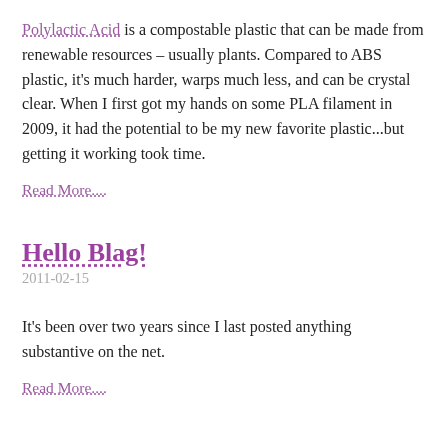Polylactic Acid is a compostable plastic that can be made from renewable resources – usually plants. Compared to ABS plastic, it's much harder, warps much less, and can be crystal clear. When I first got my hands on some PLA filament in 2009, it had the potential to be my new favorite plastic...but getting it working took time.
Read More....
Hello Blag!
2011-02-15
It's been over two years since I last posted anything substantive on the net.
Read More....